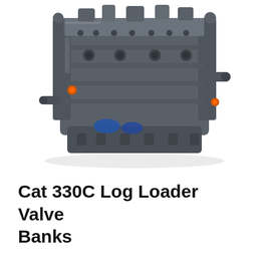[Figure (photo): A large complex hydraulic valve bank assembly for a Cat 330C Log Loader, shown in dark grey metallic color with multiple ports, fittings, orange O-ring caps, and blue sealant visible. The unit is photographed against a white background.]
Cat 330C Log Loader Valve Banks